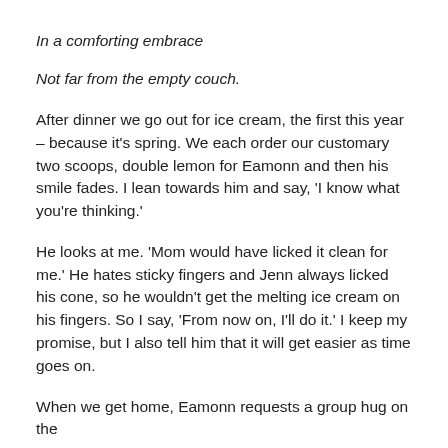In a comforting embrace
Not far from the empty couch.
After dinner we go out for ice cream, the first this year – because it's spring. We each order our customary two scoops, double lemon for Eamonn and then his smile fades. I lean towards him and say, ‘I know what you’re thinking.’
He looks at me. ‘Mom would have licked it clean for me.’ He hates sticky fingers and Jenn always licked his cone, so he wouldn’t get the melting ice cream on his fingers. So I say, ‘From now on, I’ll do it.’ I keep my promise, but I also tell him that it will get easier as time goes on.
When we get home, Eamonn requests a group hug on the